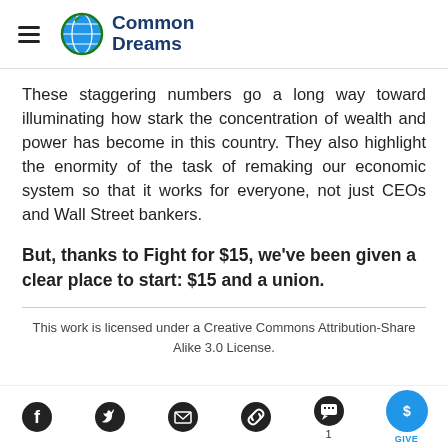Common Dreams
These staggering numbers go a long way toward illuminating how stark the concentration of wealth and power has become in this country. They also highlight the enormity of the task of remaking our economic system so that it works for everyone, not just CEOs and Wall Street bankers.
But, thanks to Fight for $15, we’ve been given a clear place to start: $15 and a union.
This work is licensed under a Creative Commons Attribution-Share Alike 3.0 License.
[Figure (infographic): Social media sharing icons: Facebook, Twitter, Email, Link, Comments (1), and a blue circular GIVE button]